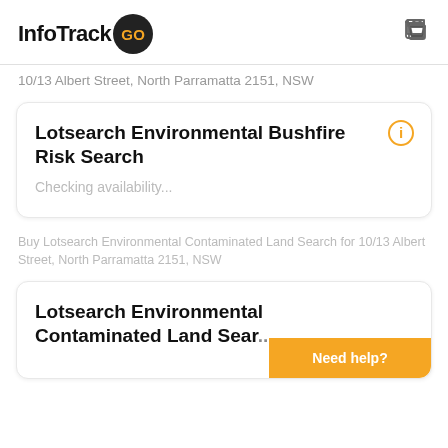InfoTrack GO
10/13 Albert Street, North Parramatta 2151, NSW
Lotsearch Environmental Bushfire Risk Search
Checking availability...
Buy Lotsearch Environmental Contaminated Land Search for 10/13 Albert Street, North Parramatta 2151, NSW
Lotsearch Environmental Contaminated Land Search